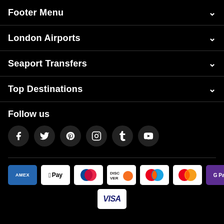Footer Menu
London Airports
Seaport Transfers
Top Destinations
Follow us
[Figure (other): Social media icons: Facebook, Twitter, Pinterest, Instagram, Tumblr, YouTube]
[Figure (other): Payment method logos: AMEX, Apple Pay, Diners Club, Discover, Mastercard (two variants), Google Pay, Visa]